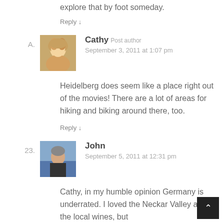explore that by foot someday.
Reply ↓
A.
[Figure (photo): Avatar photo of Cathy, a blonde woman]
Cathy Post author
September 3, 2011 at 1:07 pm
Heidelberg does seem like a place right out of the movies! There are a lot of areas for hiking and biking around there, too.
Reply ↓
23.
[Figure (photo): Avatar photo of John, an older man outdoors]
John
September 5, 2011 at 12:31 pm
Cathy, in my humble opinion Germany is underrated. I loved the Neckar Valley and the local wines, but